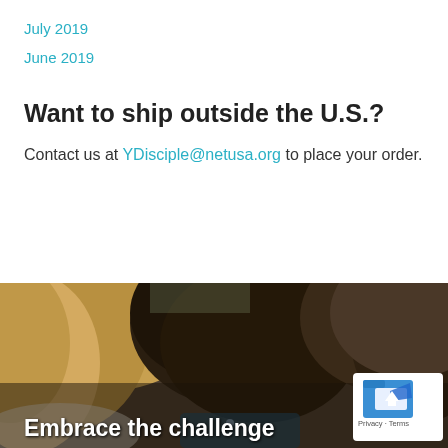July 2019
June 2019
Want to ship outside the U.S.?
Contact us at YDisciple@netusa.org to place your order.
[Figure (photo): Photo of young people with heads close together, viewed from above/behind showing hair. Text overlay reads 'Embrace the challenge'. A privacy/terms badge is visible in the bottom right corner.]